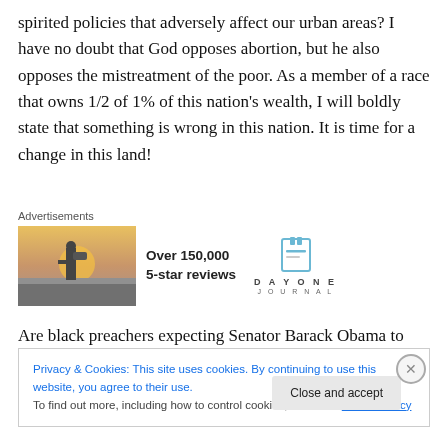spirited policies that adversely affect our urban areas? I have no doubt that God opposes abortion, but he also opposes the mistreatment of the poor. As a member of a race that owns 1/2 of 1% of this nation's wealth, I will boldly state that something is wrong in this nation. It is time for a change in this land!
[Figure (other): Advertisement banner with a photo of a person photographing a sunset, text 'Over 150,000 5-star reviews', and the Day One Journal logo]
Are black preachers expecting Senator Barack Obama to
Privacy & Cookies: This site uses cookies. By continuing to use this website, you agree to their use.
To find out more, including how to control cookies, see here: Cookie Policy